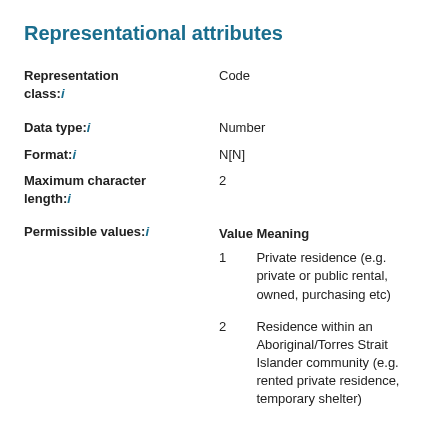Representational attributes
| Attribute | Value |
| --- | --- |
| Representation class: i | Code |
| Data type: i | Number |
| Format: i | N[N] |
| Maximum character length: i | 2 |
| Permissible values: i | Value | Meaning
1 | Private residence (e.g. private or public rental, owned, purchasing etc)
2 | Residence within an Aboriginal/Torres Strait Islander community (e.g. rented private residence, temporary shelter) |